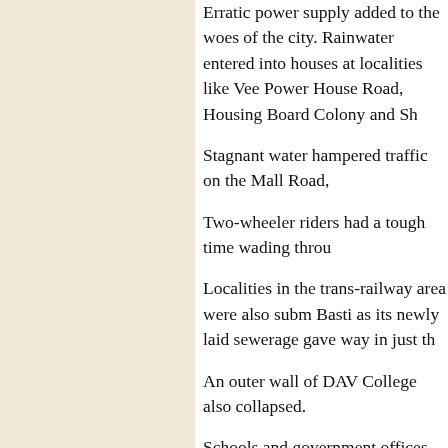Erratic power supply added to the woes of the city. Rainwater entered into houses at localities like Ve... Power House Road, Housing Board Colony and Sh...
Stagnant water hampered traffic on the Mall Road,
Two-wheeler riders had a tough time wading throu...
Localities in the trans-railway area were also subm... Basti as its newly laid sewerage gave way in just th...
An outer wall of DAV College also collapsed.
Schools and government offices recorded low atte... inundated streets. Reports of falling of trees were a...
Followers of Dera Sacha Sauda p
Tribu...
Sangrur, September 22
Alleging that the CBI was trying to implicate Sant... Sacha Sauda, Sirsa, in false cases, followers of the... held a rally in front of the district administrative co...
A deputation of the followers of the dera, led by M...